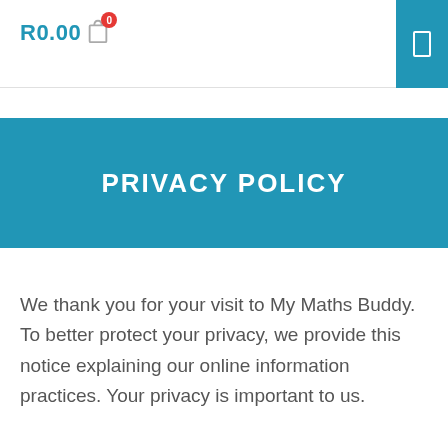R0.00 0
PRIVACY POLICY
We thank you for your visit to My Maths Buddy. To better protect your privacy, we provide this notice explaining our online information practices. Your privacy is important to us.